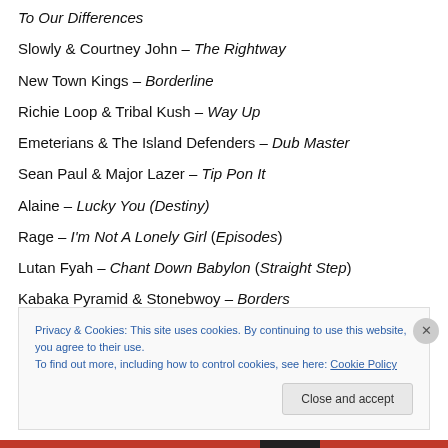To Our Differences
Slowly & Courtney John – The Rightway
New Town Kings – Borderline
Richie Loop & Tribal Kush – Way Up
Emeterians & The Island Defenders – Dub Master
Sean Paul & Major Lazer – Tip Pon It
Alaine – Lucky You (Destiny)
Rage – I'm Not A Lonely Girl (Episodes)
Lutan Fyah – Chant Down Babylon (Straight Step)
Kabaka Pyramid & Stonebwoy – Borders
TiMeka & Vershon – Live Life (Vibes Maker)
Privacy & Cookies: This site uses cookies. By continuing to use this website, you agree to their use. To find out more, including how to control cookies, see here: Cookie Policy